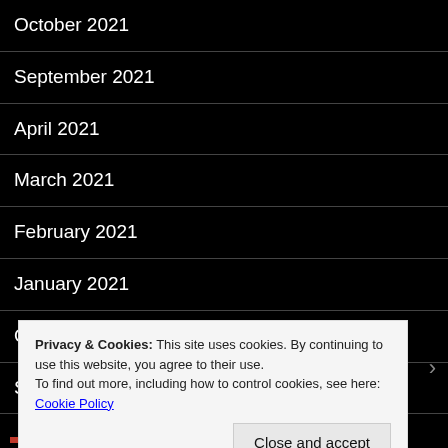October 2021
September 2021
April 2021
March 2021
February 2021
January 2021
October 2020
September 2020
June 2020
Privacy & Cookies: This site uses cookies. By continuing to use this website, you agree to their use.
To find out more, including how to control cookies, see here: Cookie Policy
Close and accept